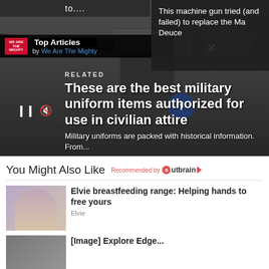[Figure (screenshot): Screenshot of a webpage showing a 'We Are The Mighty' Top Articles widget overlay on a military machine gun article page, with a dark popup in the top right reading 'This machine gun tried (and failed) to replace the Ma Deuce'. Below is a 'RELATED' article card with white text overlay on a dark military weapon image: 'These are the best military uniform items authorized for use in civilian attire' with subtext 'Military uniforms are packed with historical information. From...']
to....
Top Articles by We Are The Mighty
This machine gun tried (and failed) to replace the Ma Deuce
RELATED
These are the best military uniform items authorized for use in civilian attire
Military uniforms are packed with historical information. From...
You Might Also Like
Recommended by Outbrain
Elvie breastfeeding range: Helping hands to free yours
Elvie
[Image] Explore Edge...